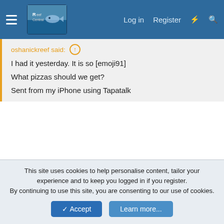Reef Central — Log in | Register
oshanickreef said: ↑

I had it yesterday. It is so [emoji91]

What pizzas should we get?

Sent from my iPhone using Tapatalk
My favorite is sausage pepperoni extra cheese
Lance A. Lot
SLASH Member
This site uses cookies to help personalise content, tailor your experience and to keep you logged in if you register.
By continuing to use this site, you are consenting to our use of cookies.